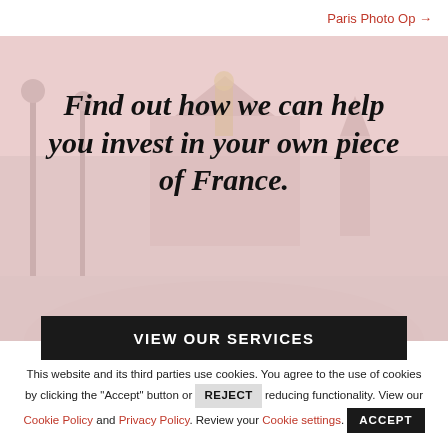Paris Photo Op →
[Figure (photo): Background photo of Paris landmarks (bridge, ornate buildings, lampposts, golden statue) with a pinkish overlay tint]
Find out how we can help you invest in your own piece of France.
VIEW OUR SERVICES
This website and its third parties use cookies. You agree to the use of cookies by clicking the "Accept" button or REJECT reducing functionality. View our Cookie Policy and Privacy Policy. Review your Cookie settings. ACCEPT